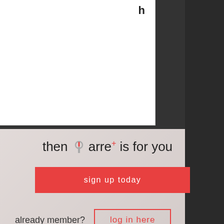[Figure (screenshot): Website screenshot showing barre+ fitness membership page. Top-left shows a white paper overlay with partial letter 'h'. Main section has light background with text 'then barre+ is for you', a red 'sign up today' button, text 'already member?' with a red-outlined 'log in here' button. Bottom section shows a card with 'barre+' title and 'Have you ever tried barre+?' text, with a blue circle with ellipsis. Right side shows dark background with a person in athletic wear.]